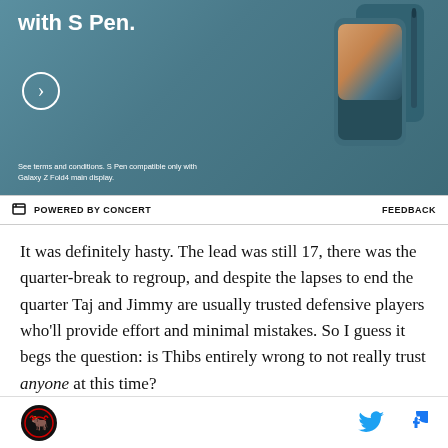[Figure (photo): Advertisement banner for Samsung Galaxy Z Fold4 with S Pen — teal/dark cyan background, phone image on right, circle arrow button, fine print at bottom left.]
POWERED BY CONCERT   FEEDBACK
It was definitely hasty. The lead was still 17, there was the quarter-break to regroup, and despite the lapses to end the quarter Taj and Jimmy are usually trusted defensive players who'll provide effort and minimal mistakes. So I guess it begs the question: is Thibs entirely wrong to not really trust anyone at this time?
On Monday, the 'bench mob 2.0' was down to 3 players: Butler, Gibson, and under 10 minutes for Nate
[logo] [twitter icon] [facebook icon]